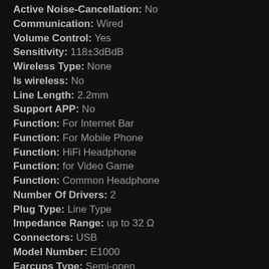Active Noise-Cancellation: No
Communication: Wired
Volume Control: Yes
Sensitivity: 118±3dBdB
Wireless Type: None
Is wireless: No
Line Length: 2.2mm
Support APP: No
Function: For Internet Bar
Function: For Mobile Phone
Function: HiFi Headphone
Function: for Video Game
Function: Common Headphone
Number Of Drivers: 2
Plug Type: Line Type
Impedance Range: up to 32 Ω
Connectors: USB
Model Number: E1000
Earcups Type: Semi-open
Headphone Pads Material: Other